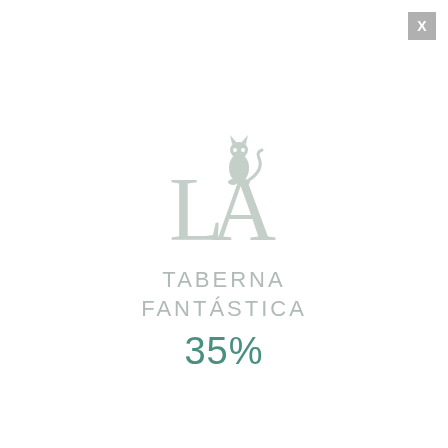[Figure (logo): La Taberna Fantastica logo: a stylized cat/owl silhouette on top of the letters LA, with text TABERNA FANTASTICA below in light grey]
35%